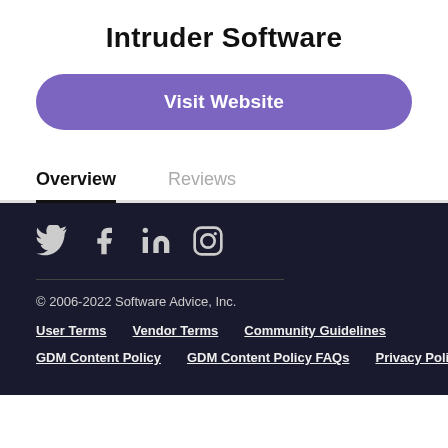Intruder Software
Visit Website
Overview	Reviews
[Figure (infographic): Social media icons: Twitter, Facebook, LinkedIn, Instagram]
© 2006-2022 Software Advice, Inc.
User Terms   Vendor Terms   Community Guidelines
GDM Content Policy   GDM Content Policy FAQs   Privacy Policy